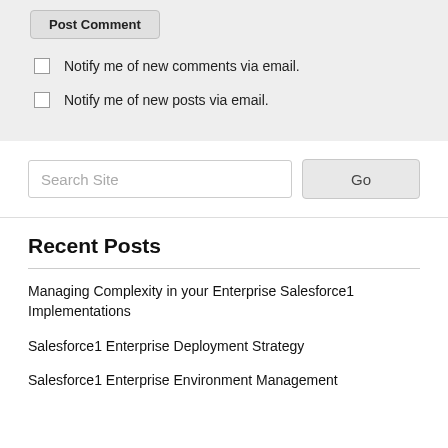Post Comment
Notify me of new comments via email.
Notify me of new posts via email.
Search Site
Recent Posts
Managing Complexity in your Enterprise Salesforce1 Implementations
Salesforce1 Enterprise Deployment Strategy
Salesforce1 Enterprise Environment Management